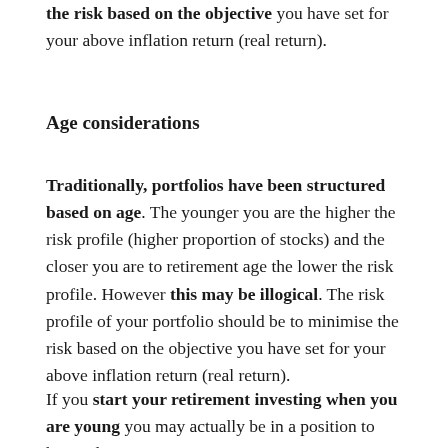the risk based on the objective you have set for your above inflation return (real return).
Age considerations
Traditionally, portfolios have been structured based on age. The younger you are the higher the risk profile (higher proportion of stocks) and the closer you are to retirement age the lower the risk profile. However this may be illogical. The risk profile of your portfolio should be to minimise the risk based on the objective you have set for your above inflation return (real return).
If you start your retirement investing when you are young you may actually be in a position to have a lower